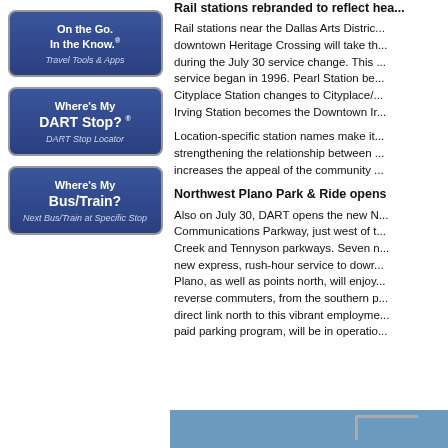[Figure (infographic): Three DART app promotional boxes stacked vertically: 'On the Go. In the Know. Travel Tools & Apps', 'Where's My DART Stop? DART Stop Locator', 'Where's My Bus/Train? Next Bus/Train at Specific Stop']
Rail stations rebranded to reflect hea...
Rail stations near the Dallas Arts Distric... downtown Heritage Crossing will take th... during the July 30 service change. This ... service began in 1996. Pearl Station be... Cityplace Station changes to Cityplace/... Irving Station becomes the Downtown Ir...
Location-specific station names make it... strengthening the relationship between ... increases the appeal of the community ...
Northwest Plano Park & Ride opens
Also on July 30, DART opens the new N... Communications Parkway, just west of t... Creek and Tennyson parkways. Seven n... new express, rush-hour service to dowr... Plano, as well as points north, will enjoy... reverse commuters, from the southern p... direct link north to this vibrant employme... paid parking program, will be in operatio...
[Figure (photo): Blue background with partial gray geometric shape visible at bottom of page]